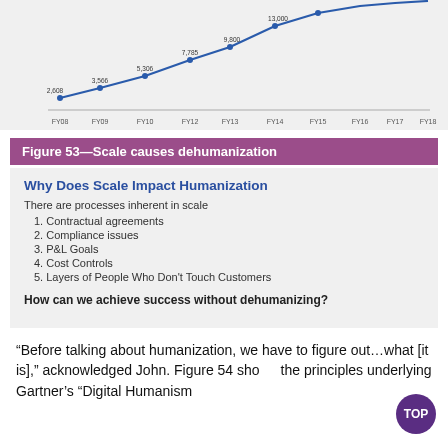[Figure (line-chart): ]
Figure 53—Scale causes dehumanization
[Figure (infographic): Salesforce slide: Why Does Scale Impact Humanization. Lists 5 processes: 1. Contractual agreements, 2. Compliance issues, 3. P&L Goals, 4. Cost Controls, 5. Layers of People Who Don't Touch Customers. Question: How can we achieve success without dehumanizing?]
“Before talking about humanization, we have to figure out…what [it is],” acknowledged John. Figure 54 shows the principles underlying Gartner’s “Digital Humanism